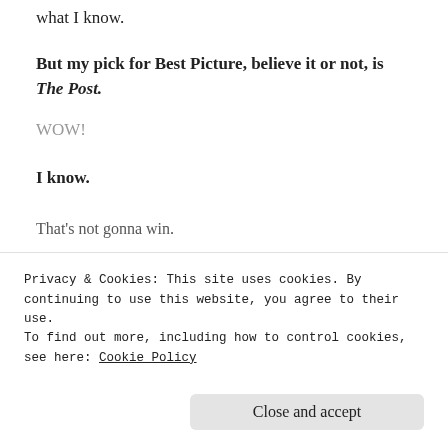what I know.
But my pick for Best Picture, believe it or not, is The Post.
WOW!
I know.
That's not gonna win.
[Figure (photo): Black and white or desaturated film still showing several men in suits gathered closely together, interior setting with fluorescent ceiling lights visible]
Privacy & Cookies: This site uses cookies. By continuing to use this website, you agree to their use.
To find out more, including how to control cookies, see here: Cookie Policy
Close and accept